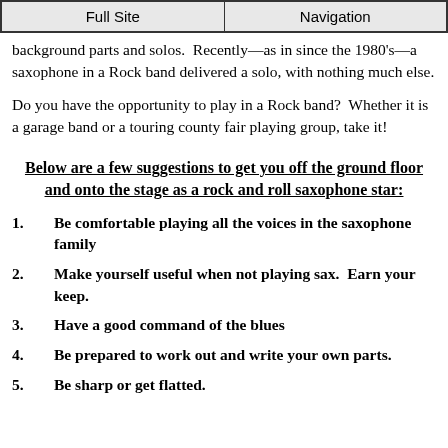Full Site | Navigation
background parts and solos.  Recently—as in since the 1980's—a saxophone in a Rock band delivered a solo, with nothing much else.
Do you have the opportunity to play in a Rock band?  Whether it is a garage band or a touring county fair playing group, take it!
Below are a few suggestions to get you off the ground floor and onto the stage as a rock and roll saxophone star:
1.      Be comfortable playing all the voices in the saxophone family
2.      Make yourself useful when not playing sax.  Earn your keep.
3.      Have a good command of the blues
4.      Be prepared to work out and write your own parts.
5.      Be sharp or get flatted.